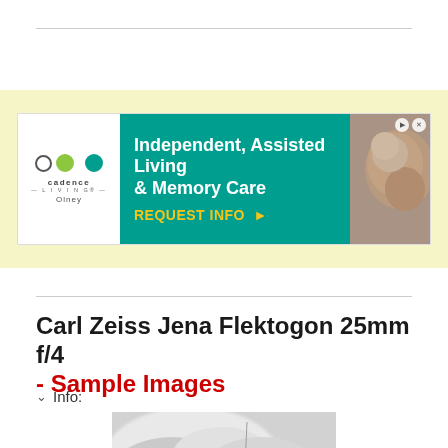[Figure (other): Advertisement banner for Cadence Living Olney - Independent, Assisted Living & Memory Care with teal background, logo, and photo of elderly people]
Carl Zeiss Jena Flektogon 25mm f/4 - Sample Images
Info:
[Figure (photo): Black and white sample image showing hands and a needle/pin, partial view]